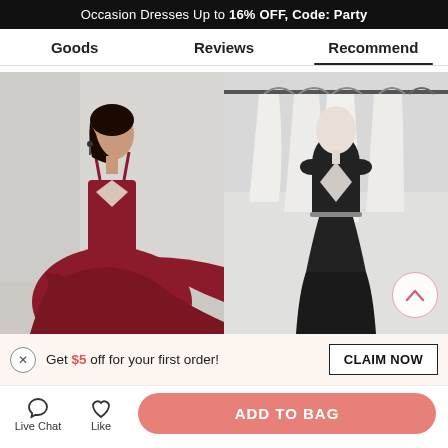Occasion Dresses Up to 16% OFF, Code: Party
Goods | Reviews | Recommend
[Figure (photo): Woman wearing a deep V-neck burgundy/dark red flowing dress with thin spaghetti straps, posing in front of a light background.]
[Figure (photo): A black sleeveless deep V-neck mermaid gown on a mannequin in a bridal boutique with white dresses on hangers in the background.]
Get $5 off for your first order!
CLAIM NOW
Live Chat
Like
ADD TO BAG